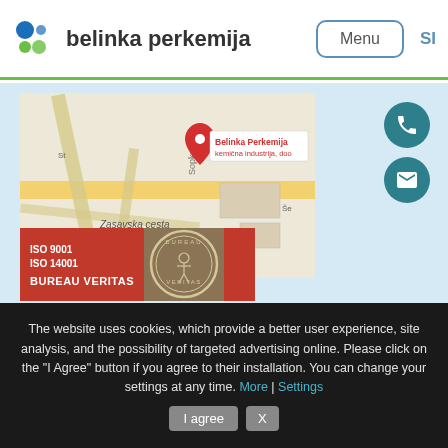[Figure (logo): Belinka Perkemija logo with blue and green circles and bold text]
[Figure (map): Google Maps screenshot showing Belinka Perkemija kemična industrija, doo location near Zasavska cesta and Zajčeva pot]
[Figure (infographic): Bureau Veritas certification card showing ISO 9001 and ISO 14001 with Bureau Veritas seal]
The website uses cookies, which provide a better user experience, site analysis, and the possibility of targeted advertising online. Please click on the "I Agree" button if you agree to their installation. You can change your settings at any time. More | Settings